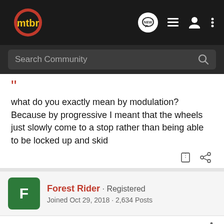mtbr — NEW (chat icon) (list icon) (user icon) (more icon)
Search Community
what do you exactly mean by modulation? Because by progressive I meant that the wheels just slowly come to a stop rather than being able to be locked up and skid
Forest Rider · Registered
Joined Oct 29, 2018 · 2,634 Posts
#4 · Apr 22, 2019
Some people refer to the less progressive/more progressive feel as '...
[Figure (screenshot): Advertisement banner for The New 2022 Silverado by Chevrolet with Explore button, overlaid on post content]